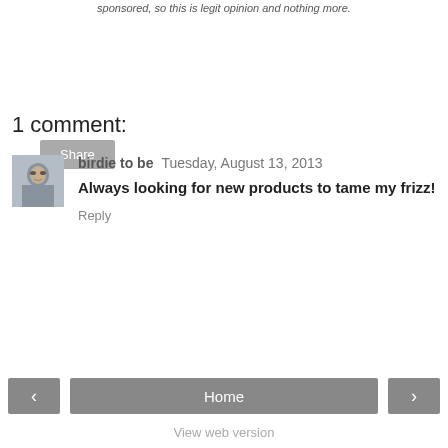sponsored, so this is legit opinion and nothing more.
Share
1 comment:
[Figure (photo): User avatar photo of birdie to be]
birdie to be  Tuesday, August 13, 2013
Always looking for new products to tame my frizz!
Reply
‹   Home   ›   View web version